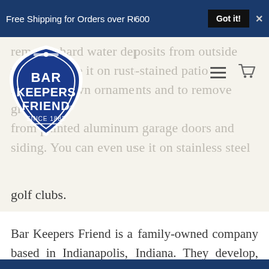Free Shipping for Orders over R600  Got it!  X
[Figure (logo): Bar Keepers Friend logo — circular blue badge with white text reading BAR KEEPERS FRIEND SINCE 1882]
removes hard water deposits from outside vehicles. Use it on rust-stained patio furniture, lawn ornaments and to remove grime from painted aluminum garage doors and siding. You can even use it on stainless steel golf clubs.
Bar Keepers Friend is a family-owned company based in Indianapolis, Indiana. They develop, produce and package all of our products, to ensure consistency and quality.